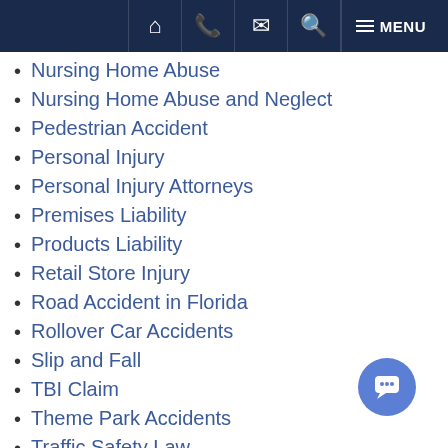Navigation bar with home, phone, email, search, and menu icons
Nursing Home Abuse
Nursing Home Abuse and Neglect
Pedestrian Accident
Personal Injury
Personal Injury Attorneys
Premises Liability
Products Liability
Retail Store Injury
Road Accident in Florida
Rollover Car Accidents
Slip and Fall
TBI Claim
Theme Park Accidents
Traffic Safety Law
Truck Accidents
Uber Accidents
Uncategorized
Uninsured Motorist Accident
Workers Compensation
Wrongful Death